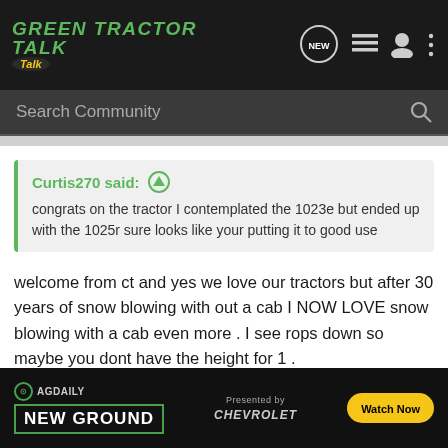Green Tractor Talk — navigation bar with Search Community
Curtis270 said: ↑
congrats on the tractor I contemplated the 1023e but ended up with the 1025r sure looks like your putting it to good use
welcome from ct and yes we love our tractors but after 30 years of snow blowing with out a cab I NOW LOVE snow blowing with a cab even more . I see rops down so maybe you dont have the height for 1 .
enjoy !!!!!
1965 110 needs restoration my 1st tractor I got it back
2002 455...nd
[Figure (screenshot): AG Daily New Ground advertisement banner presented by Chevrolet with Watch Now button]